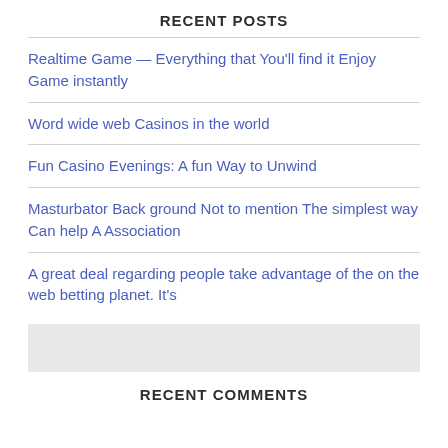RECENT POSTS
Realtime Game — Everything that You'll find it Enjoy Game instantly
Word wide web Casinos in the world
Fun Casino Evenings: A fun Way to Unwind
Masturbator Back ground Not to mention The simplest way Can help A Association
A great deal regarding people take advantage of the on the web betting planet. It's
RECENT COMMENTS